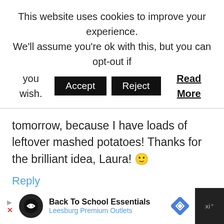This website uses cookies to improve your experience. We'll assume you're ok with this, but you can opt-out if you wish. Accept Reject Read More
tomorrow, because I have loads of leftover mashed potatoes! Thanks for the brilliant idea, Laura! 🙂
Reply
krazykitchenmom says December 1, 2019 at 3:07 pm
Back To School Essentials Leesburg Premium Outlets